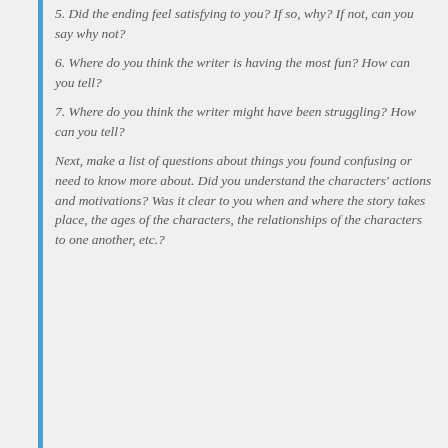5. Did the ending feel satisfying to you? If so, why? If not, can you say why not?
6. Where do you think the writer is having the most fun? How can you tell?
7. Where do you think the writer might have been struggling? How can you tell?
Next, make a list of questions about things you found confusing or need to know more about. Did you understand the characters' actions and motivations? Was it clear to you when and where the story takes place, the ages of the characters, the relationships of the characters to one another, etc.?